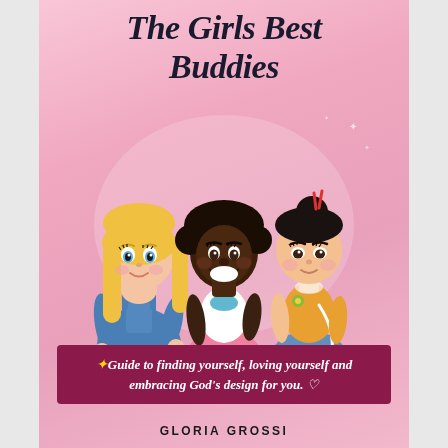The Girls Best Buddies
[Figure (illustration): Three cartoon-style girl characters: a blonde girl in blue overalls on the left, a dark-skinned girl with curly hair in a white top and pink skirt in the center, and an Asian girl with black hair in a bun wearing a yellow top and blue shorts on the right. Pink gradient background with sparkles.]
✦Guide to finding yourself, loving yourself and embracing God's design for you. ♡
GLORIA GROSSI